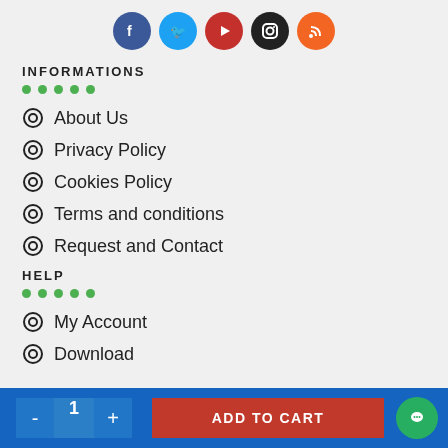[Figure (illustration): Row of 5 social media icons (Facebook, Twitter, YouTube, Instagram, RSS) as colored circles at top of page]
INFORMATIONS
About Us
Privacy Policy
Cookies Policy
Terms and conditions
Request and Contact
HELP
My Account
Download
- 1 + ADD TO CART